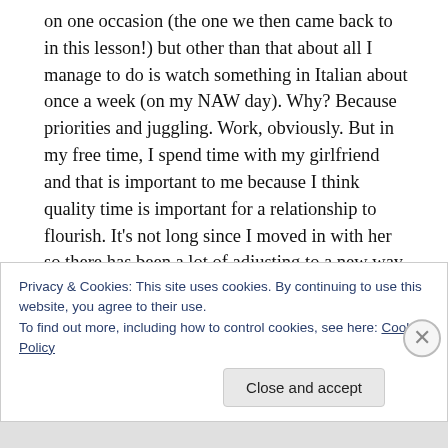on one occasion (the one we then came back to in this lesson!) but other than that about all I manage to do is watch something in Italian about once a week (on my NAW day). Why? Because priorities and juggling. Work, obviously. But in my free time, I spend time with my girlfriend and that is important to me because I think quality time is important for a relationship to flourish. It's not long since I moved in with her so there has been a lot of adjusting to a new way of being. It is (obviously) very different from living alone/with a housemate. I also need to exercise regularly. Plus
Privacy & Cookies: This site uses cookies. By continuing to use this website, you agree to their use.
To find out more, including how to control cookies, see here: Cookie Policy